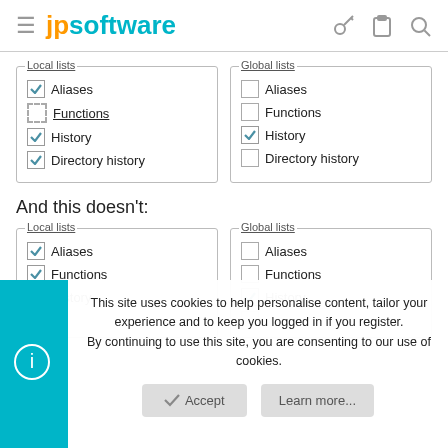jpsoftware
[Figure (screenshot): Two checkbox panels side by side: 'Local lists' with Aliases (checked), Functions (unchecked, dotted border), History (checked), Directory history (checked); 'Global lists' with Aliases (unchecked), Functions (unchecked), History (checked), Directory history (unchecked)]
And this doesn't:
[Figure (screenshot): Two checkbox panels side by side: 'Local lists' with Aliases (checked), Functions (checked), History (checked); 'Global lists' with Aliases (unchecked), Functions (unchecked), History (checked)]
This site uses cookies to help personalise content, tailor your experience and to keep you logged in if you register. By continuing to use this site, you are consenting to our use of cookies.